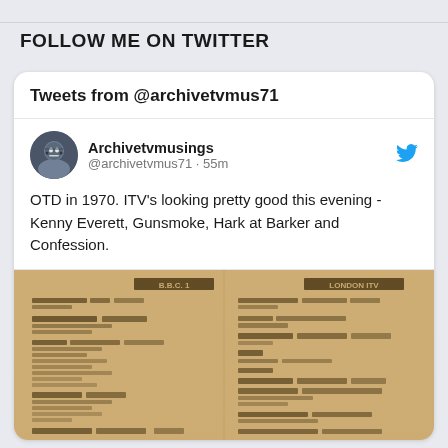FOLLOW ME ON TWITTER
Tweets from @archivetvmus71
Archivetvmusings
@archivetvmus71 · 55m
OTD in 1970. ITV's looking pretty good this evening - Kenny Everett, Gunsmoke, Hark at Barker and Confession.
[Figure (photo): Blurred/scanned vintage newspaper TV listings page showing BBC 1 and LONDON ITV columns from 1970]